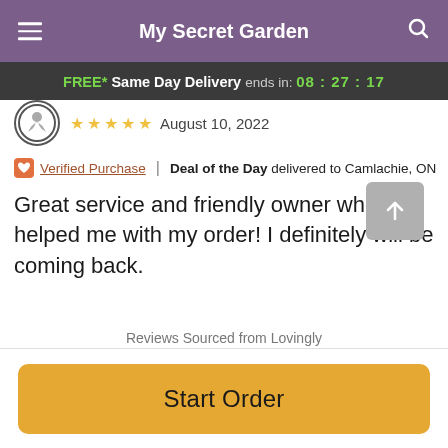My Secret Garden
FREE* Same Day Delivery ends in: 08:27:17
August 10, 2022
Verified Purchase | Deal of the Day delivered to Camlachie, ON
Great service and friendly owner who helped me with my order! I definitely will be coming back.
Reviews Sourced from Lovingly
You May Also Like
Start Order